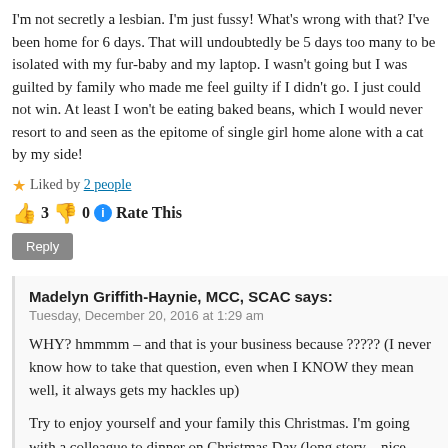I'm not secretly a lesbian. I'm just fussy! What's wrong with that? I've been home for 6 days. That will undoubtedly be 5 days too many to be isolated with my fur-baby and my laptop. I wasn't going but I was guilted by family who made me feel guilty if I didn't go. I just could not win. At least I won't be eating baked beans, which I would never resort to and seen as the epitome of single girl home alone with a cat by my side!
Liked by 2 people
👍 3 👎 0 ℹ Rate This
Reply
Madelyn Griffith-Haynie, MCC, SCAC says:
Tuesday, December 20, 2016 at 1:29 am
WHY? hmmmm – and that is your business because ????? (I never know how to take that question, even when I KNOW they mean well, it always gets my hackles up)
Try to enjoy yourself and your family this Christmas. I'm going with a colleague to dinner on Christmas Day (long story – nice vibe there usually). So I'm sure there will be – and I won't be eating baked beans on [gluten free] toast either. LOL
xx, mgh
Like
👍 3 👎 0 ℹ Rate This